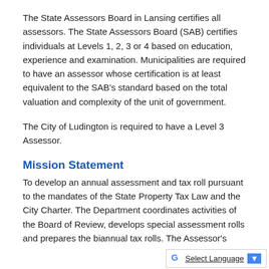The State Assessors Board in Lansing certifies all assessors. The State Assessors Board (SAB) certifies individuals at Levels 1, 2, 3 or 4 based on education, experience and examination. Municipalities are required to have an assessor whose certification is at least equivalent to the SAB's standard based on the total valuation and complexity of the unit of government.
The City of Ludington is required to have a Level 3 Assessor.
Mission Statement
To develop an annual assessment and tax roll pursuant to the mandates of the State Property Tax Law and the City Charter. The Department coordinates activities of the Board of Review, develops special assessment rolls and prepares the biannual tax rolls. The Assessor's Office is responsible for the inventory of all property within the City, and the valuation of the taxable parcels therein. Both real property (land and